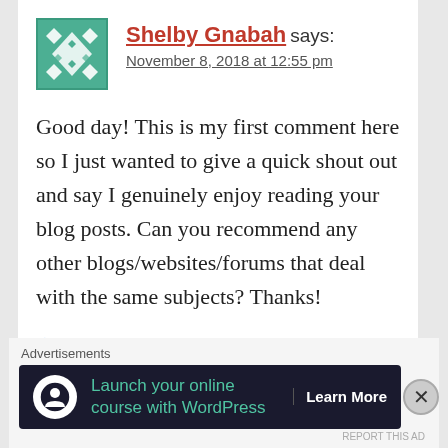[Figure (illustration): Green geometric avatar/gravatar icon with diamond and triangle shapes on green background]
Shelby Gnabah says:
November 8, 2018 at 12:55 pm
Good day! This is my first comment here so I just wanted to give a quick shout out and say I genuinely enjoy reading your blog posts. Can you recommend any other blogs/websites/forums that deal with the same subjects? Thanks!
★ Like
Reply
Advertisements
[Figure (illustration): Dark advertisement banner: Launch your online course with WordPress - Learn More button, with Automattic/WordPress logo]